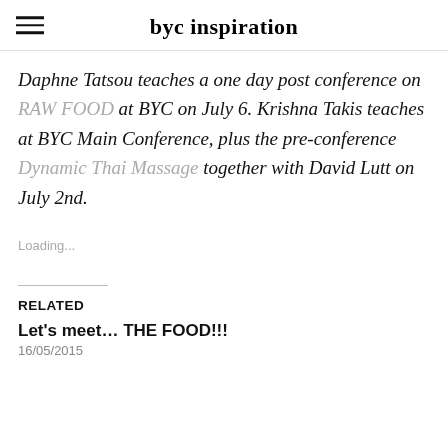byc inspiration
Daphne Tatsou teaches a one day post conference on RAW FOOD at BYC on July 6. Krishna Takis teaches at BYC Main Conference, plus the pre-conference Dynamic Thai Massage together with David Lutt on July 2nd.
Loading...
RELATED
Let's meet... THE FOOD!!!
16/05/2015